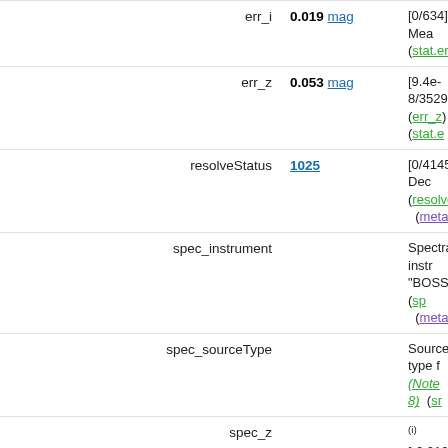| Name | Value | Description |
| --- | --- | --- |
| err_i | 0.019 mag | [0/634] Mean... (stat.error;ph |
| err_z | 0.053 mag | [9.4e-8/3529... (err_z) (stat.e |
| resolveStatus | 1025 | [0/4145] Dec... (resolveStatus) (meta.code) |
| spec_instrument |  | Spectral instr... "BOSS") (sp... (meta.id;ins |
| spec_sourceType |  | Source type... (Note 8) (sr |
| spec_z |  | (i) [-0.012/7.0... redshift (whe... (Note 6) (sr |
| spec_zErr |  | [-6/30689] M... (negative for... (Note 6) (st |
| spec_zWarning |  | [0/902] Zwa... (spec_zWarn... (meta.code) |
| spec_class |  | Spectroscopi... "QSO"-"ST |